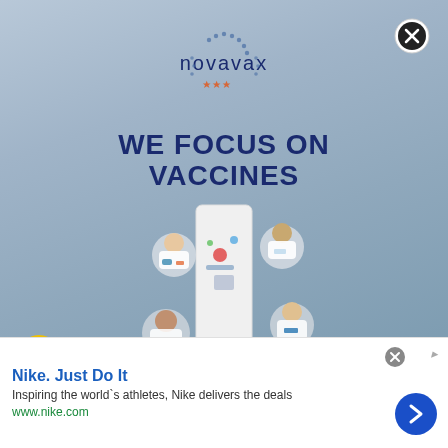[Figure (logo): Novavax logo with text 'novavax' in dark blue with dotted circle and stars beneath]
WE FOCUS ON VACCINES
[Figure (photo): Aerial/top-down view of scientists in white lab coats working around a long white table with lab equipment, samples, and documents. The image spans two background sections - metallic blue-gray on top and brown wood texture on bottom.]
[Figure (other): Close (X) button in top right corner]
[Figure (other): Accessibility icon (yellow circle with person symbol) at bottom left]
Nike. Just Do It
Inspiring the world`s athletes, Nike delivers the deals
www.nike.com